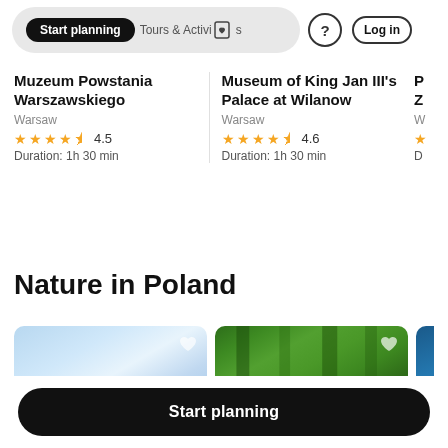Start planning | Tours & Activities | ? | Log in
Muzeum Powstania Warszawskiego
Warsaw
4.5 stars
Duration: 1h 30 min
Museum of King Jan III's Palace at Wilanow
Warsaw
4.6 stars
Duration: 1h 30 min
Nature in Poland
[Figure (photo): Blue sky with clouds, nature photo card]
[Figure (photo): Green forest trees, nature photo card]
Start planning